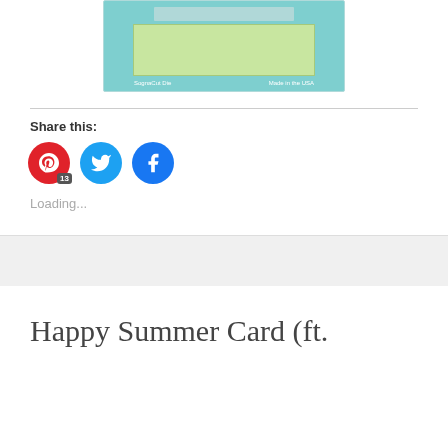[Figure (screenshot): Product packaging image with teal background and green inner rectangle, showing 'SognaCut Die' and 'Made in the USA' text]
Share this:
[Figure (infographic): Three social share buttons: Pinterest (red, badge 13), Twitter (blue bird icon), Facebook (blue f icon)]
Loading...
Happy Summer Card (ft.